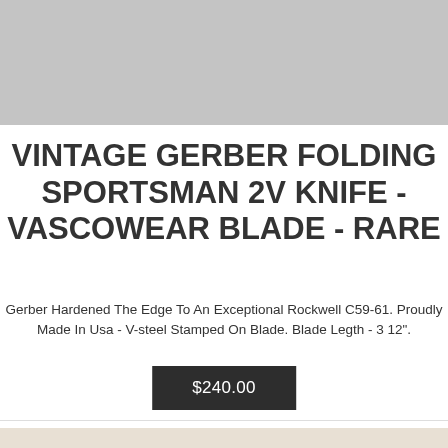[Figure (photo): Top portion of product image, grey/silver background, partially cut off at top of page]
VINTAGE GERBER FOLDING SPORTSMAN 2V KNIFE - VASCOWEAR BLADE - RARE
Gerber Hardened The Edge To An Exceptional Rockwell C59-61. Proudly Made In Usa - V-steel Stamped On Blade. Blade Legth - 3 12".
$240.00
[Figure (photo): Photo of a Gerber folding knife with black handle and silver blade, shown open on a light beige/cream background]